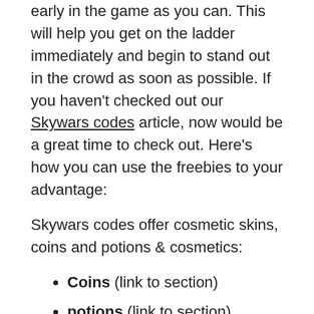early in the game as you can. This will help you get on the ladder immediately and begin to stand out in the crowd as soon as possible. If you haven't checked out our Skywars codes article, now would be a great time to check out. Here's how you can use the freebies to your advantage:
Skywars codes offer cosmetic skins, coins and potions & cosmetics:
Coins (link to section)
potions (link to section)
Cosmetics: Primarily, these codes will deliver cosmetic player skins that will temporarily change the appearance of the player. You have a lot of choices when it comes to skins to choose from like polar bears, dragons, zombies, Santa Claus. These are a great way to stand out from the crowd